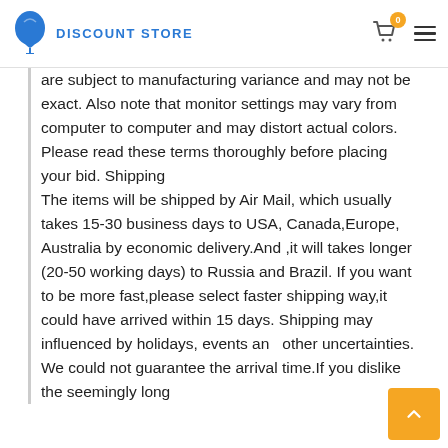DISCOUNT STORE
are subject to manufacturing variance and may not be exact. Also note that monitor settings may vary from computer to computer and may distort actual colors. Please read these terms thoroughly before placing your bid. Shipping The items will be shipped by Air Mail, which usually takes 15-30 business days to USA, Canada,Europe, Australia by economic delivery.And ,it will takes longer (20-50 working days) to Russia and Brazil. If you want to be more fast,please select faster shipping way,it could have arrived within 15 days. Shipping may influenced by holidays, events and other uncertainties. We could not guarantee the arrival time.If you dislike the seemingly long